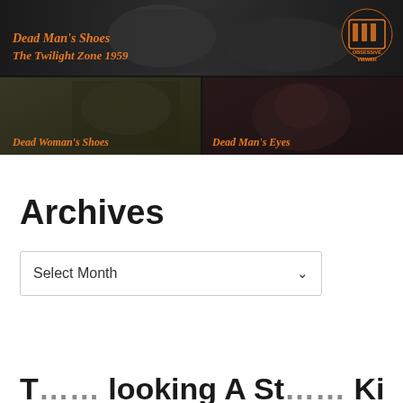[Figure (screenshot): Composite movie/TV screenshot collage showing three panels with orange italic text overlays on dark film stills. Top panel: 'Dead Man's Shoes' and 'The Twilight Zone 1959' with Obsessive Viewer logo. Bottom left: 'Dead Woman's Shoes'. Bottom right: 'Dead Man's Eyes'.]
Archives
Select Month
T... looking A St... King